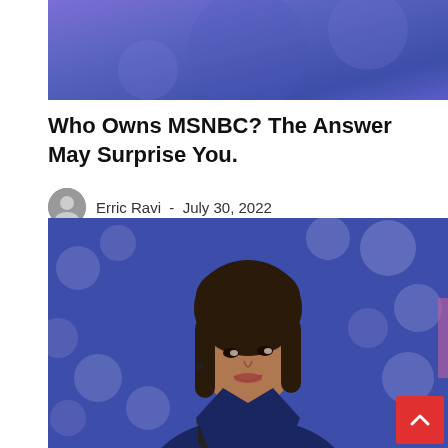[Figure (photo): Blue/purple banner image at the top of article page]
Who Owns MSNBC? The Answer May Surprise You.
Erric Ravi  -  July 30, 2022
[Figure (photo): Portrait photo of Kamala Harris at a podium with microphones, blurred blue background with white polka dots, wearing a dark navy blazer and pearl necklace, looking upward and to the right]